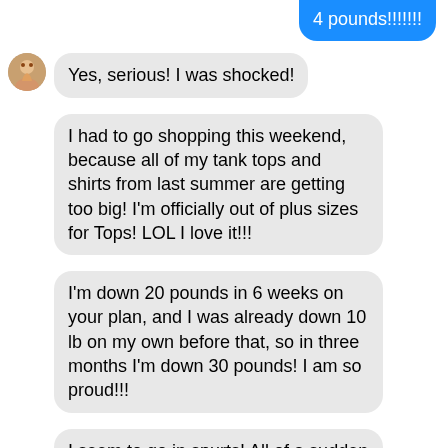4 pounds!!!!!!!
Yes, serious! I was shocked!
I had to go shopping this weekend, because all of my tank tops and shirts from last summer are getting too big! I'm officially out of plus sizes for Tops! LOL I love it!!!
I'm down 20 pounds in 6 weeks on your plan, and I was already down 10 lb on my own before that, so in three months I'm down 30 pounds! I am so proud!!!
I seem to go in spurts! All of a sudden two weeks ago I lost 6-7 lb in a matter of like 2 or 3 days, and then I won't lose anything for 2